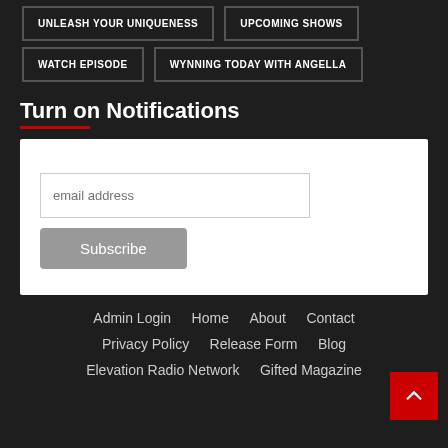UNLEASH YOUR UNIQUENESS
UPCOMING SHOWS
WATCH EPISODE
WYNNING TODAY WITH ANGELLA
Turn on Notifications
email address
Subscribe
Admin Login  Home  About  Contact  Privacy Policy  Release Form  Blog  Elevation Radio Network  Gifted Magazine